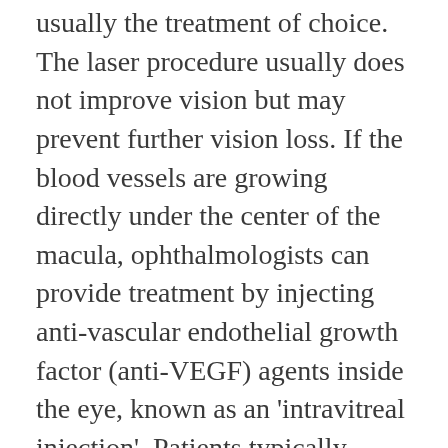usually the treatment of choice. The laser procedure usually does not improve vision but may prevent further vision loss. If the blood vessels are growing directly under the center of the macula, ophthalmologists can provide treatment by injecting anti-vascular endothelial growth factor (anti-VEGF) agents inside the eye, known as an 'intravitreal injection'. Patients typically receive multiple injections, occurring several times per year. This treatment is beneficial because it inhibits the growth of new blood vessels and shrinks existing leaky vessels. These kinds of injections have been shown to preserve vision for many people and sometimes even restore lost vision for others.